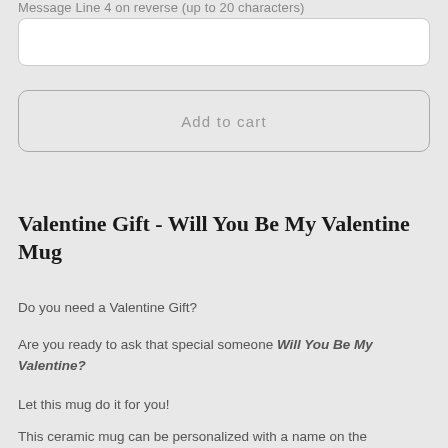Message Line 4 on reverse (up to 20 characters)
Add to cart
Valentine Gift - Will You Be My Valentine Mug
Do you need a Valentine Gift?
Are you ready to ask that special someone Will You Be My Valentine?
Let this mug do it for you!
This ceramic mug can be personalized with a name on the